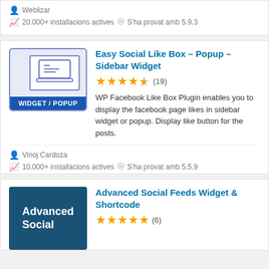Weblizar
20.000+ installacions actives  S'ha provat amb 5.9.3
Easy Social Like Box – Popup – Sidebar Widget
[Figure (screenshot): Plugin thumbnail for Easy Social Like Box showing a laptop icon with a blue 'WIDGET / POPUP' banner]
WP Facebook Like Box Plugin enables you to display the facebook page likes in sidebar widget or popup. Display like button for the posts.
Vinoj Cardoza
10.000+ installacions actives  S'ha provat amb 5.5.9
Advanced Social Feeds Widget & Shortcode
[Figure (screenshot): Plugin thumbnail for Advanced Social showing dark blue background with white text 'Advanced Social']
(6)